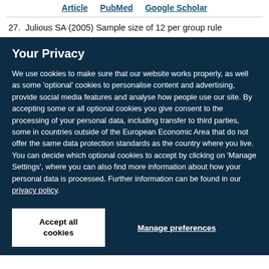Article   PubMed   Google Scholar
27. Julious SA (2005) Sample size of 12 per group rule
Your Privacy
We use cookies to make sure that our website works properly, as well as some 'optional' cookies to personalise content and advertising, provide social media features and analyse how people use our site. By accepting some or all optional cookies you give consent to the processing of your personal data, including transfer to third parties, some in countries outside of the European Economic Area that do not offer the same data protection standards as the country where you live. You can decide which optional cookies to accept by clicking on 'Manage Settings', where you can also find more information about how your personal data is processed. Further information can be found in our privacy policy.
Accept all cookies
Manage preferences